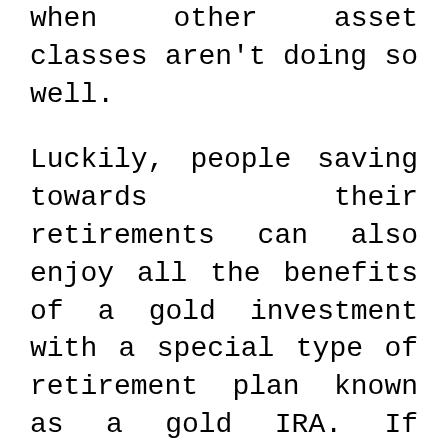when other asset classes aren't doing so well.
Luckily, people saving towards their retirements can also enjoy all the benefits of a gold investment with a special type of retirement plan known as a gold IRA. If you've recently learned about this plan then we bet you are very excited to try it out already. But do not be too quick to select a company to handle your gold IRA.
Before you choose a company, you have to be sure that they are reputable and reliable because the company will handle almost every aspect of your account. If you rush into choosing the wrong company, it may put